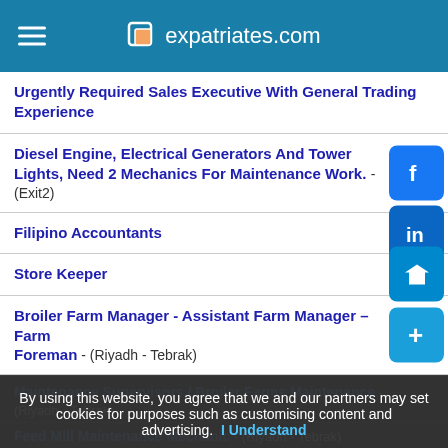expatriates.com
Urgently Required Sales Executive With General Trading Experience
Diesel Engine, Electrical Generators And Tower Lights, Need 2 Mechanics For Maintenance Work. - (Exit2)
Filipino Accountants
Store Keeper
Broiler Farm Manager - Assistant Farm Manager – Farm Foreman - (Riyadh - Tebrak)
Maintenance Supervisors / Broiler Farms Maintenance - (Riyadh - Tebrak)
Feed Mill Maintenance Mechanic - (Riyadh - Tebrak)
By using this website, you agree that we and our partners may set cookies for purposes such as customising content and advertising. I Understand